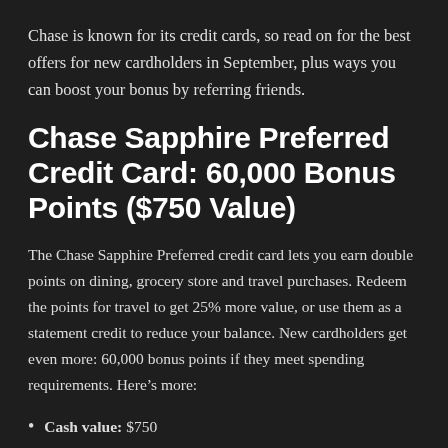Chase is known for its credit cards, so read on for the best offers for new cardholders in September, plus ways you can boost your bonus by referring friends.
Chase Sapphire Preferred Credit Card: 60,000 Bonus Points ($750 Value)
The Chase Sapphire Preferred credit card lets you earn double points on dining, grocery store and travel purchases. Redeem the points for travel to get 25% more value, or use them as a statement credit to reduce your balance. New cardholders get even more: 60,000 bonus points if they meet spending requirements. Here’s more:
Cash value: $750